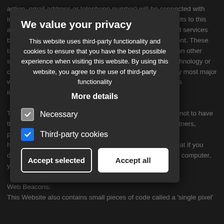action, email address or telephone number) will be connected with information regarding their use, information about your visits to this and other websites to target advertisements for goods and services based on estimates of user response to each advertisement. These targeted advertisements may appear on our Websites or on other sites. The anonymous information is collected through technology or cookies, which are industry standard technologies used by most major websites. If you do not want such companies to collect this information you may opt-out. To learn more about the use of this information or choose not to have this information used by certain third-party advertising partners, please visit the Network Advertising Initiative at http://www.networkadvertising.org/choices. Please note that if you delete your cookies, use a different browser, or buy a new computer, you will need to renew your opt-out choice. Web Beacons: This Website also contains small pieces of code called a 'single pixel'
We value your privacy
This website uses third-party functionality and cookies to ensure that you have the best possible experience when visiting this website. By using this website, you agree to the use of third-party functionality
More details
Necessary
Third-party cookies
Accept selected
Accept all